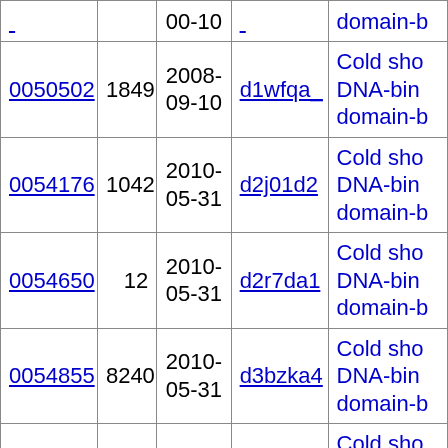| ID | Count | Date | PDB | Description |
| --- | --- | --- | --- | --- |
| 0050502 | 1849 | 2008-09-10 | d1wfqa_ | Cold sho DNA-bin domain-b |
| 0054176 | 1042 | 2010-05-31 | d2j01d2 | Cold sho DNA-bin domain-b |
| 0054650 | 12 | 2010-05-31 | d2r7da1 | Cold sho DNA-bin domain-b |
| 0054855 | 8240 | 2010-05-31 | d3bzka4 | Cold sho DNA-bin domain-b |
| 0037529 | 341 | 2005-09-08 | d1ffka2 | Cold sho DNA-bin domain-b |
| 0041327 | 58 | 2005-09-08 | d1ne3a_ | Cold sho DNA-bin domain-b |
| 0044302 | 622 | 2005-09-08 | d1ueba2 | Cold sho DNA-bin domain-b |
| ... | ... | 2008-... | ... | Cold sho |